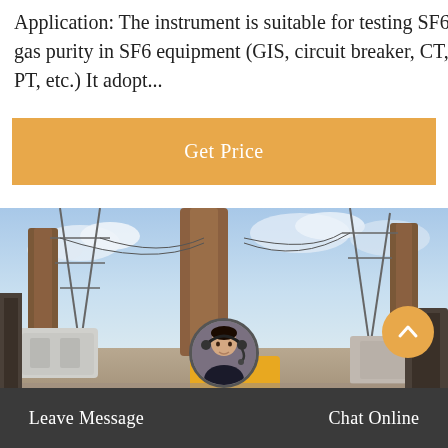Application: The instrument is suitable for testing SF6 gas purity in SF6 equipment (GIS, circuit breaker, CT, PT, etc.) It adopt...
Get Price
[Figure (photo): Outdoor electrical substation with high-voltage equipment, transformers, transmission towers, and a yellow utility truck driving through the facility]
Leave Message
Chat Online